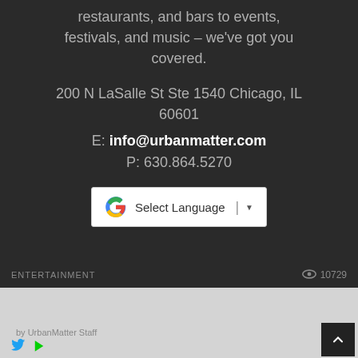restaurants, and bars to events, festivals, and music – we've got you covered.
200 N LaSalle St Ste 1540 Chicago, IL 60601
E: info@urbanmatter.com
P: 630.864.5270
[Figure (screenshot): Google Translate widget showing 'Select Language' with dropdown arrow]
ENTERTAINMENT   👁 10729
[Figure (screenshot): Firestone ad banner: 'Your Complete Care Solution' with Download button]
by UrbanMatter Staff